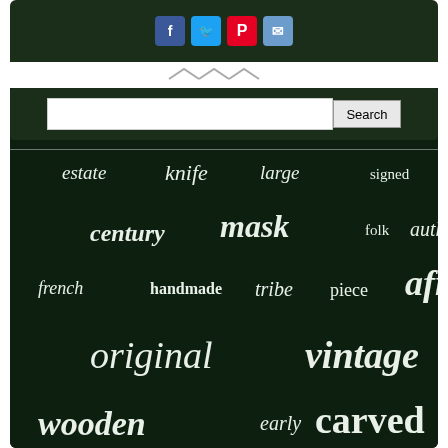[Figure (screenshot): Website screenshot showing social share buttons (Facebook, Twitter, Pinterest, Email), a search bar, and a tag cloud on dark green background with words: estate, knife, large, signed, hand, century, mask, folk, authentic, french, handmade, tribe, piece, african, original, vintage, wooden, early, carved, japan, tiger, painted, made, sculpture, tribal, cabinet, painting, table, congo, antique, rare, woods, 19th, wood, statue]